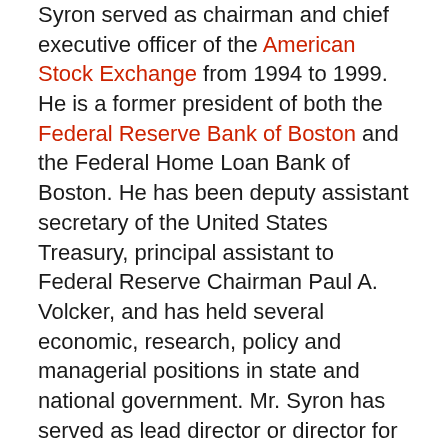Syron served as chairman and chief executive officer of the American Stock Exchange from 1994 to 1999. He is a former president of both the Federal Reserve Bank of Boston and the Federal Home Loan Bank of Boston. He has been deputy assistant secretary of the United States Treasury, principal assistant to Federal Reserve Chairman Paul A. Volcker, and has held several economic, research, policy and managerial positions in state and national government. Mr. Syron has served as lead director or director for a number of public companies, including John Hancock and McKesson Corporation.
"He brings to Genzyme's board extensive financial expertise and knowledge of capital markets, having led the second largest source of mortgage financing in the United States. As president of the Federal Reserve Bank of Boston and the Federal Home Loan Bank of Boston, he played a major role in restructuring New England's